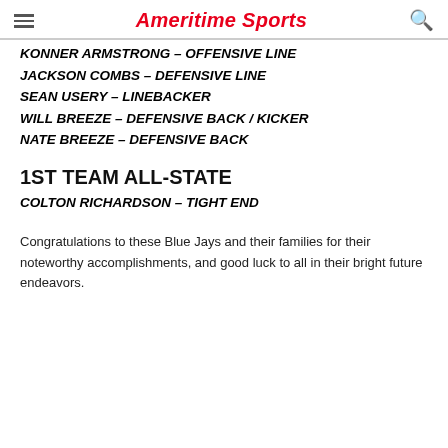Ameritime Sports
KONNER ARMSTRONG – OFFENSIVE LINE
JACKSON COMBS – DEFENSIVE LINE
SEAN USERY – LINEBACKER
WILL BREEZE – DEFENSIVE BACK / KICKER
NATE BREEZE – DEFENSIVE BACK
1ST TEAM ALL-STATE
COLTON RICHARDSON – TIGHT END
Congratulations to these Blue Jays and their families for their noteworthy accomplishments, and good luck to all in their bright future endeavors.